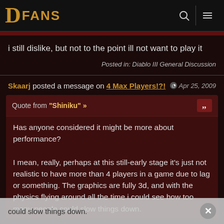DFANS
i still dislike, but not to the point ill not want to play it
Posted in: Diablo III General Discussion
Skaarj posted a message on 4 Max Players!?!  Apr 25, 2009
Quote from "Shiniku" »
Has anyone considered it might be more about performance?

I mean, really, perhaps at this still-early stage it's just not realistic to have more than 4 players in a game due to lag or something. The graphics are fully 3d, and with the physics flying around all the time i could see how too many people could slow things down.